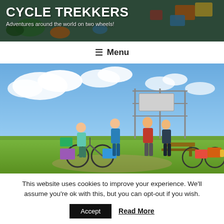CYCLE TREKKERS
Adventures around the world on two wheels!
☰ Menu
[Figure (photo): Four cyclists with loaded touring bikes standing outdoors on a grassy field under a partly cloudy sky, posing near a metal fence structure.]
This website uses cookies to improve your experience. We'll assume you're ok with this, but you can opt-out if you wish.
Accept   Read More